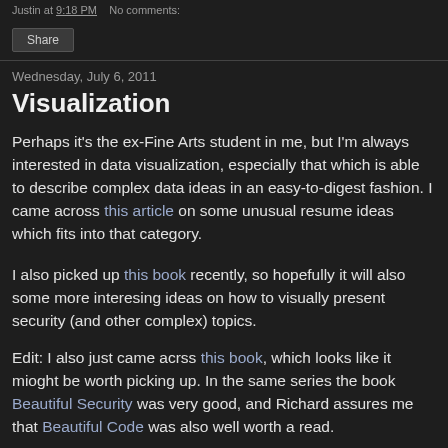Justin at 9:18 PM   No comments:
Share
Wednesday, July 6, 2011
Visualization
Perhaps it's the ex-Fine Arts student in me, but I'm always interested in data visualization, especially that which is able to describe complex data ideas in an easy-to-digest fashion. I came across this article on some unusual resume ideas which fits into that category.
I also picked up this book recently, so hopefully it will also some more interesing ideas on how to visually present security (and other complex) topics.
Edit: I also just came acrss this book, which looks like it mioght be worth picking up. In the same series the book Beautiful Security was very good, and Richard assures me that Beautiful Code was also well worth a read.